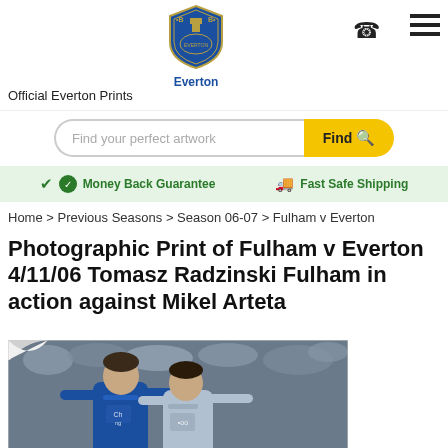[Figure (logo): Everton FC official shield logo with text 'Everton' below]
Official Everton Prints
Find your perfect artwork
Money Back Guarantee   Fast Safe Shipping
Home > Previous Seasons > Season 06-07 > Fulham v Everton
Photographic Print of Fulham v Everton 4/11/06 Tomasz Radzinski Fulham in action against Mikel Arteta
[Figure (photo): Football photo showing Tomasz Radzinski of Fulham in action against Mikel Arteta of Everton, with crowd in background. Image has a curled top-left corner effect.]